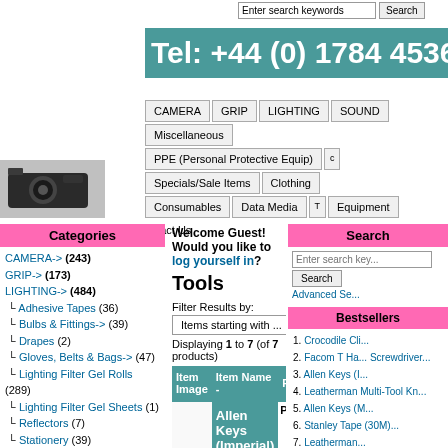Enter search keywords  Search
Tel: +44 (0) 1784 453610
CAMERA  GRIP  LIGHTING  SOUND  Miscellaneous  PPE (Personal Protective Equip)  Specials/Sale Items  Clothing  Consumables  Data Media  Equipment  Contact Us
Categories
CAMERA-> (243)
GRIP-> (173)
LIGHTING-> (484)
└ Adhesive Tapes (36)
└ Bulbs & Fittings-> (39)
└ Drapes (2)
└ Gloves, Belts & Bags-> (47)
└ Lighting Filter Gel Rolls (289)
└ Lighting Filter Gel Sheets (1)
└ Reflectors (7)
└ Stationery (39)
└ Tools (7)
└ Torches (9)
└ Accessories (6)
└ Miscellaneous (2)
SOUND-> (268)
Miscellaneous (28)
PPE (Personal Protective Equip) (9)
Welcome Guest! Would you like to log yourself in?
Tools
Filter Results by:
Items starting with ...
Displaying 1 to 7 (of 7 products)
| Item Image | Item Name - | Price |
| --- | --- | --- |
|  | Allen Keys (Imperial)
Allen Keys (Imperial) | Price |
Search
Enter search keywords
Search
Advanced Se...
Bestsellers
1. Crocodile Cli...
2. Facom T Ha... Screwdriver...
3. Allen Keys (I...
4. Leatherman Multi-Tool Kn...
5. Allen Keys (M...
6. Stanley Tape (30M)...
7. Leatherman...